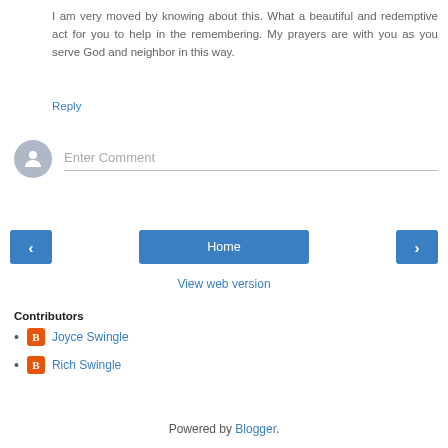I am very moved by knowing about this. What a beautiful and redemptive act for you to help in the remembering. My prayers are with you as you serve God and neighbor in this way.
Reply
[Figure (other): Comment input area with avatar and Enter Comment placeholder text]
[Figure (other): Navigation row with left arrow button, Home button, and right arrow button]
View web version
Contributors
Joyce Swingle
Rich Swingle
Powered by Blogger.